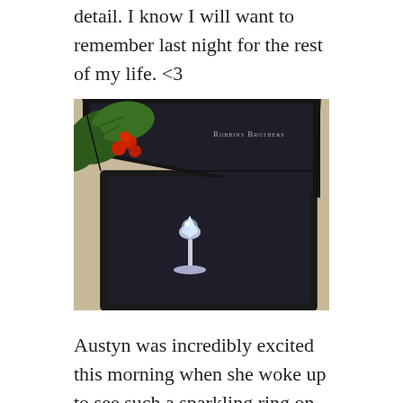detail. I know I will want to remember last night for the rest of my life. <3
[Figure (photo): A diamond solitaire engagement ring in an open black velvet Robbins Brothers jewelry box, with holly berries and green leaves visible in the upper left corner. The ring features a round brilliant-cut diamond on a thin silver band.]
Austyn was incredibly excited this morning when she woke up to see such a sparkling ring on my